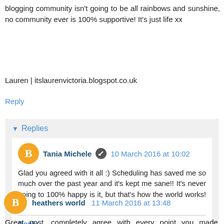blogging community isn't going to be all rainbows and sunshine, no community ever is 100% supportive! It's just life xx
Lauren | itslaurenvictoria.blogspot.co.uk
Reply
Replies
Tania Michele  10 March 2016 at 10:02
Glad you agreed with it all :) Scheduling has saved me so much over the past year and it's kept me sane!! It's never going to 100% happy is it, but that's how the world works! xx
Reply
heathers world  11 March 2016 at 13:48
Great post, completely agree with every point you made. Scheduling tweets has been a lifesaver for me as I can't